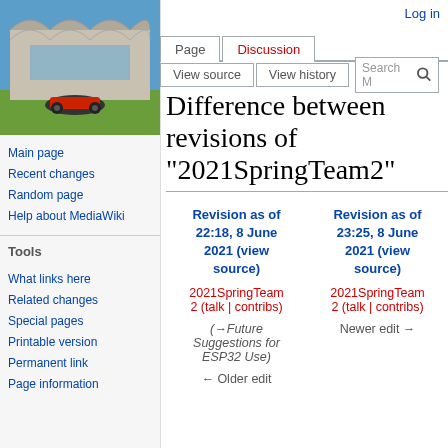[Figure (photo): Photo of a modern architectural building (Geisel Library, UCSD) with a remote-controlled car in the foreground on grass]
Main page
Recent changes
Random page
Help about MediaWiki
Tools
What links here
Related changes
Special pages
Printable version
Permanent link
Page information
Log in
Difference between revisions of "2021SpringTeam2"
| Revision as of 22:18, 8 June 2021 (view source) | Revision as of 23:25, 8 June 2021 (view source) |
| --- | --- |
| 2021SpringTeam2 (talk | contribs) | 2021SpringTeam2 (talk | contribs) |
| (→Future Suggestions for ESP32 Use) | Newer edit → |
| ← Older edit |  |